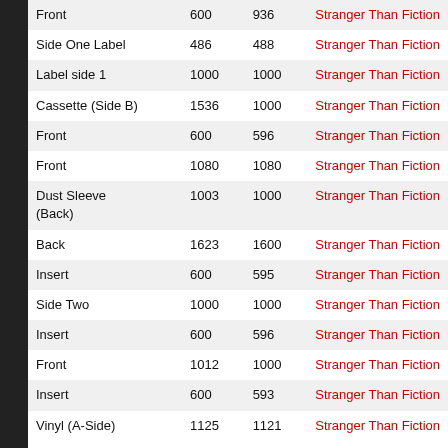|  |  |  |  |
| --- | --- | --- | --- |
| Front | 600 | 936 | Stranger Than Fiction |
| Side One Label | 486 | 488 | Stranger Than Fiction |
| Label side 1 | 1000 | 1000 | Stranger Than Fiction |
| Cassette (Side B) | 1536 | 1000 | Stranger Than Fiction |
| Front | 600 | 596 | Stranger Than Fiction |
| Front | 1080 | 1080 | Stranger Than Fiction |
| Dust Sleeve (Back) | 1003 | 1000 | Stranger Than Fiction |
| Back | 1623 | 1600 | Stranger Than Fiction |
| Insert | 600 | 595 | Stranger Than Fiction |
| Side Two | 1000 | 1000 | Stranger Than Fiction |
| Insert | 600 | 596 | Stranger Than Fiction |
| Front | 1012 | 1000 | Stranger Than Fiction |
| Insert | 600 | 593 | Stranger Than Fiction |
| Vinyl (A-Side) | 1125 | 1121 | Stranger Than Fiction |